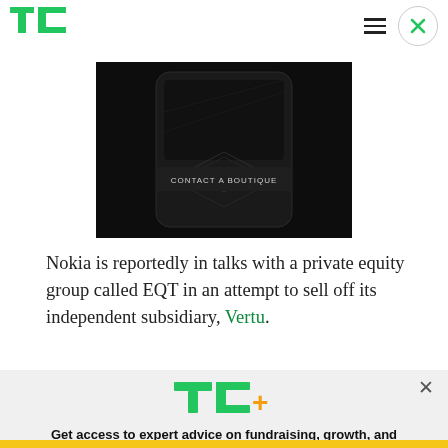TechCrunch header with TC logo, hamburger menu, and close button
[Figure (photo): A dark luxury phone (Vertu) with 'CONTACT A BOUTIQUE' text visible on the screen, shown against a black background.]
Nokia is reportedly in talks with a private equity group called EQT in an attempt to sell off its independent subsidiary, Vertu.
[Figure (logo): TC+ logo in green and orange with an X close button]
Get access to expert advice on fundraising, growth, and management for your startup.
EXPLORE NOW